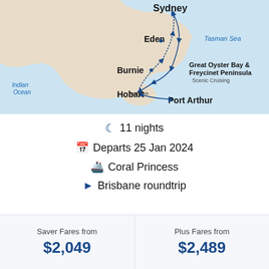[Figure (map): Cruise route map showing Australian east coast and Tasmania with labeled stops: Sydney, Eden, Burnie, Tasmania, Hobart, Port Arthur, Great Oyster Bay & Freycinet Peninsula (Scenic Cruising), Tasman Sea, Indian Ocean. Route arrows connect the stops.]
11 nights
Departs 25 Jan 2024
Coral Princess
Brisbane roundtrip
| Saver Fares from | Plus Fares from |
| --- | --- |
| $2,049 | $2,489 |